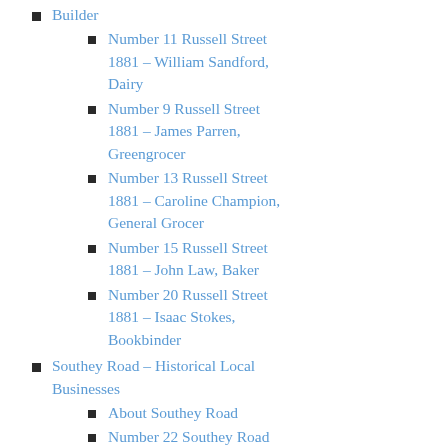Builder
Number 11 Russell Street 1881 – William Sandford, Dairy
Number 9 Russell Street 1881 – James Parren, Greengrocer
Number 13 Russell Street 1881 – Caroline Champion, General Grocer
Number 15 Russell Street 1881 – John Law, Baker
Number 20 Russell Street 1881 – Isaac Stokes, Bookbinder
Southey Road – Historical Local Businesses
About Southey Road
Number 22 Southey Road 1881 – Alfred Armstrong, Solicitor
Number 3 Southey Road 1881 – Henry Cornelius, Decorator
Number 3 Southey Road